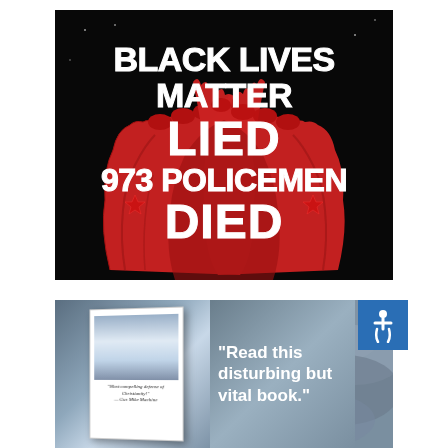[Figure (illustration): Black background with large red illustrated fists raised, overlaid with bold white text reading 'BLACK LIVES MATTER LIED 973 POLICEMEN DIED']
[Figure (photo): Book advertisement showing a book cover with stormy sky imagery and quote 'Most compelling defense of Christianity — Gus Mike Machine', with text on the right reading 'Read this disturbing but vital book.' and an accessibility icon in the top right corner.]